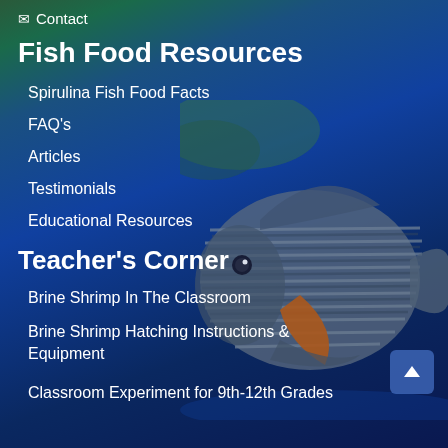Contact
Fish Food Resources
Spirulina Fish Food Facts
FAQ's
Articles
Testimonials
Educational Resources
Teacher's Corner
Brine Shrimp In The Classroom
Brine Shrimp Hatching Instructions & Equipment
Classroom Experiment for 9th-12th Grades
[Figure (photo): Underwater photo of a striped marine angelfish with blue/gray horizontal stripes and orange accents against a blue ocean background with coral]